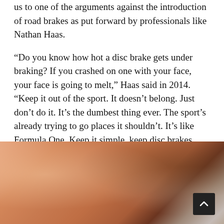us to one of the arguments against the introduction of road brakes as put forward by professionals like Nathan Haas.
“Do you know how hot a disc brake gets under braking? If you crashed on one with your face, your face is going to melt,” Haas said in 2014. “Keep it out of the sport. It doesn’t belong. Just don’t do it. It’s the dumbest thing ever. The sport’s already trying to go places it shouldn’t. It’s like Formula One. Keep it simple, keep disc brakes out.”
[Figure (photo): Close-up photo of skin (appears to be a person's arm or leg), showing skin texture and hair, with darker tones and a gravel/road surface visible in the upper right corner. A scroll-to-top button is overlaid in the bottom right.]